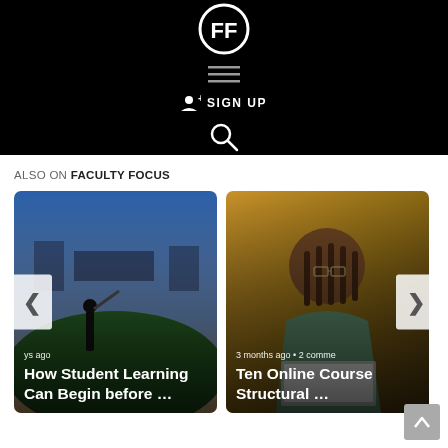Faculty Focus — header with logo, menu, sign up, search
ALSO ON FACULTY FOCUS
[Figure (screenshot): Card showing a baseball stadium at dusk with text overlay: 'How Student Learning Can Begin before …' with timestamp '…ys ago']
[Figure (screenshot): Card showing a woman with braids and glasses working on a laptop with text overlay: 'Ten Online Course Structural …' with timestamp '3 months ago • 2 comme']